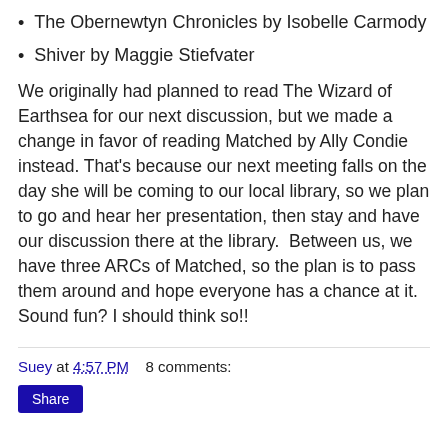The Obernewtyn Chronicles by Isobelle Carmody
Shiver by Maggie Stiefvater
We originally had planned to read The Wizard of Earthsea for our next discussion, but we made a change in favor of reading Matched by Ally Condie instead. That's because our next meeting falls on the day she will be coming to our local library, so we plan to go and hear her presentation, then stay and have our discussion there at the library.  Between us, we have three ARCs of Matched, so the plan is to pass them around and hope everyone has a chance at it. Sound fun? I should think so!!
Suey at 4:57 PM    8 comments:
Share